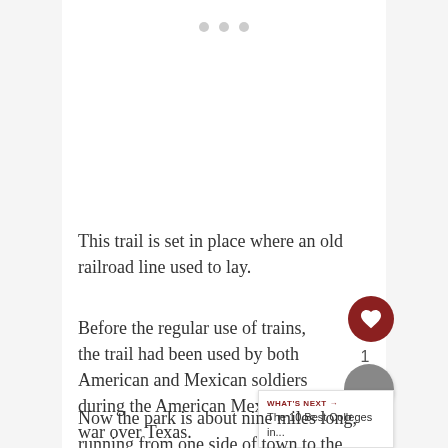[Figure (other): Three grey dots indicating a carousel/slideshow indicator at the top of the page]
This trail is set in place where an old railroad line used to lay.
Before the regular use of trains, the trail had been used by both American and Mexican soldiers during the American Mexican war over Texas.
Now the park is about nine miles long, running from one side of town to the other.